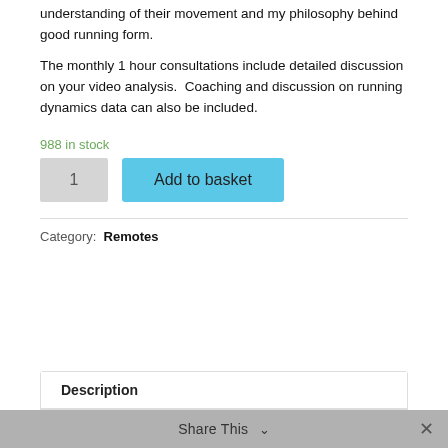understanding of their movement and my philosophy behind good running form.
The monthly 1 hour consultations include detailed discussion on your video analysis.  Coaching and discussion on running dynamics data can also be included.
988 in stock
1    Add to basket
Category: Remotes
Description
Share This